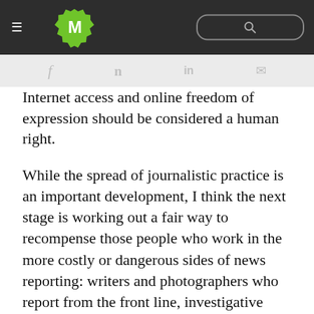M [logo] [search bar]
f [facebook] [twitter] in [linkedin] [email]
Internet access and online freedom of expression should be considered a human right.
While the spread of journalistic practice is an important development, I think the next stage is working out a fair way to recompense those people who work in the more costly or dangerous sides of news reporting: writers and photographers who report from the front line, investigative journalists who spend months on end trying to uncover a hidden truth. But I think there is broad understanding that some kinds of journalism cost money and people are prepared to pay for it.
The interaction between non-profits, for-profits, public